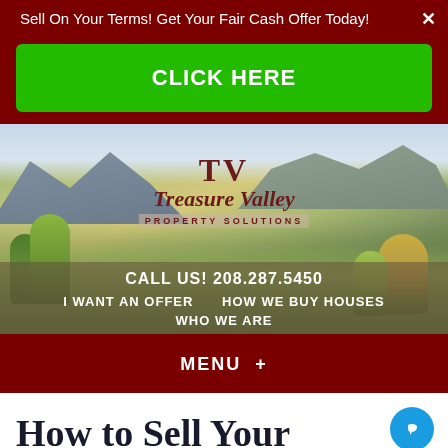Sell On Your Terms! Get Your Fair Cash Offer Today!
CLICK HERE
[Figure (photo): Aerial landscape photo of Treasure Valley with mountains in background, green fields and trees, with Treasure Valley Property Solutions logo overlaid]
CALL US! 208.287.5450
I WANT AN OFFER   HOW WE BUY HOUSES   WHO WE ARE
MENU +
How to Sell Your